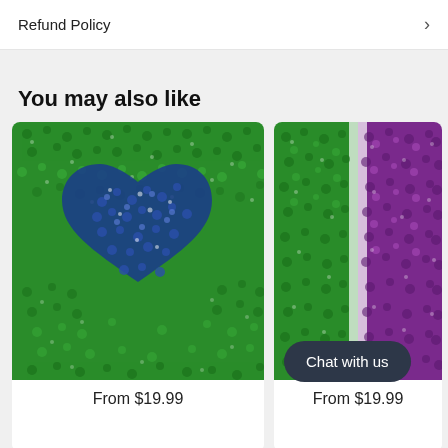Refund Policy
You may also like
[Figure (photo): Close-up of a green and blue sequin fabric with a heart shape drawn in blue sequins on green background]
From $19.99
[Figure (photo): Close-up of green and purple sequin fabric, partially visible on right side]
From $19.99
Chat with us